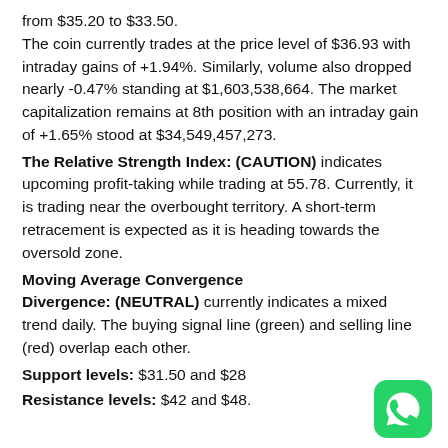from $35.20 to $33.50. The coin currently trades at the price level of $36.93 with intraday gains of +1.94%. Similarly, volume also dropped nearly -0.47% standing at $1,603,538,664. The market capitalization remains at 8th position with an intraday gain of +1.65% stood at $34,549,457,273.
The Relative Strength Index: (CAUTION) indicates upcoming profit-taking while trading at 55.78. Currently, it is trading near the overbought territory. A short-term retracement is expected as it is heading towards the oversold zone.
Moving Average Convergence Divergence: (NEUTRAL) currently indicates a mixed trend daily. The buying signal line (green) and selling line (red) overlap each other.
Support levels: $31.50 and $28
Resistance levels: $42 and $48.
[Figure (logo): WhatsApp logo icon — green rounded square with white phone handset]